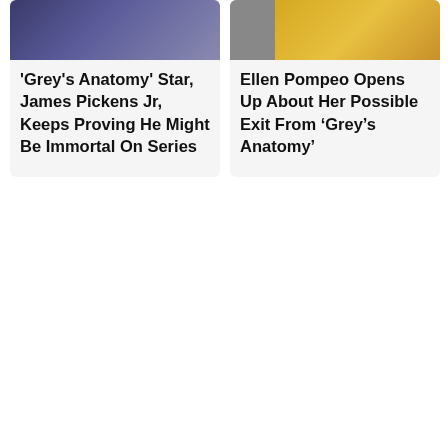[Figure (photo): Card with dark blue/purple photo at top and article headline below about James Pickens Jr.]
'Grey's Anatomy' Star, James Pickens Jr, Keeps Proving He Might Be Immortal On Series
[Figure (photo): Card with grey photo on left and yellow/gold photo on right at top, article headline below about Ellen Pompeo.]
Ellen Pompeo Opens Up About Her Possible Exit From ‘Grey’s Anatomy’